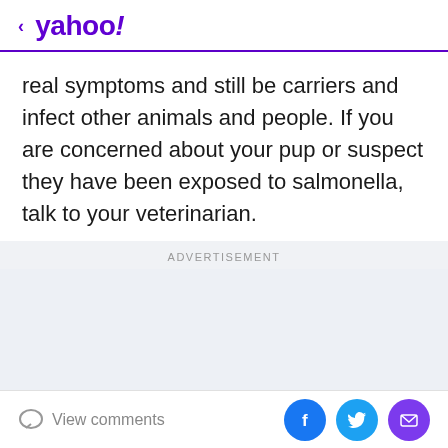< yahoo!
real symptoms and still be carriers and infect other animals and people. If you are concerned about your pup or suspect they have been exposed to salmonella, talk to your veterinarian.
ADVERTISEMENT
View comments